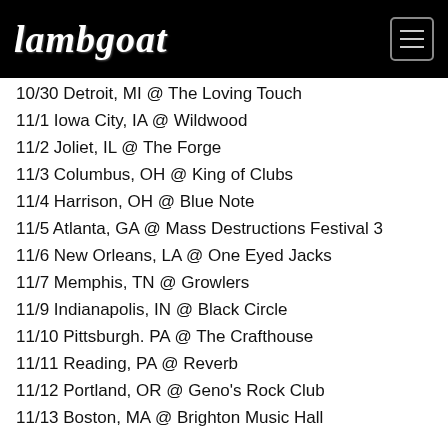Lambgoat
10/30 Detroit, MI @ The Loving Touch
11/1 Iowa City, IA @ Wildwood
11/2 Joliet, IL @ The Forge
11/3 Columbus, OH @ King of Clubs
11/4 Harrison, OH @ Blue Note
11/5 Atlanta, GA @ Mass Destructions Festival 3
11/6 New Orleans, LA @ One Eyed Jacks
11/7 Memphis, TN @ Growlers
11/9 Indianapolis, IN @ Black Circle
11/10 Pittsburgh. PA @ The Crafthouse
11/11 Reading, PA @ Reverb
11/12 Portland, OR @ Geno's Rock Club
11/13 Boston, MA @ Brighton Music Hall